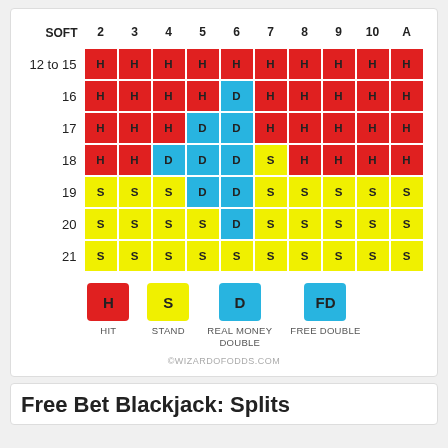| SOFT | 2 | 3 | 4 | 5 | 6 | 7 | 8 | 9 | 10 | A |
| --- | --- | --- | --- | --- | --- | --- | --- | --- | --- | --- |
| 12 to 15 | H | H | H | H | H | H | H | H | H | H |
| 16 | H | H | H | H | D | H | H | H | H | H |
| 17 | H | H | H | D | D | H | H | H | H | H |
| 18 | H | H | D | D | D | S | H | H | H | H |
| 19 | S | S | S | D | D | S | S | S | S | S |
| 20 | S | S | S | S | D | S | S | S | S | S |
| 21 | S | S | S | S | S | S | S | S | S | S |
[Figure (infographic): Legend showing H=HIT (red), S=STAND (yellow), D=REAL MONEY DOUBLE (blue), FD=FREE DOUBLE (blue). Watermark: ©WIZARDOFODDS.COM]
Free Bet Blackjack: Splits